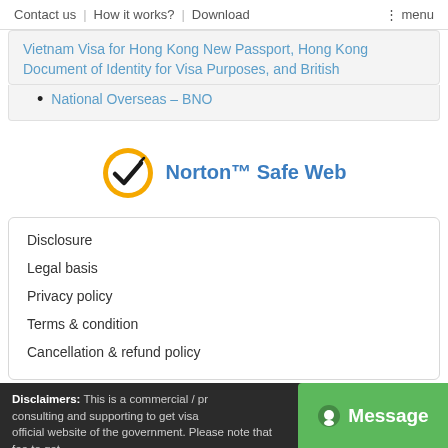Contact us | How it works? | Download | menu
Vietnam Visa for Hong Kong New Passport, Hong Kong Document of Identity for Visa Purposes, and British
National Overseas – BNO
[Figure (logo): Norton Safe Web logo — yellow circle with black checkmark, text 'Norton™ Safe Web' in blue]
Disclosure
Legal basis
Privacy policy
Terms & condition
Cancellation & refund policy
Disclaimers: This is a commercial / pr... consulting and supporting to get visa... official website of the government. Please note that fee to get